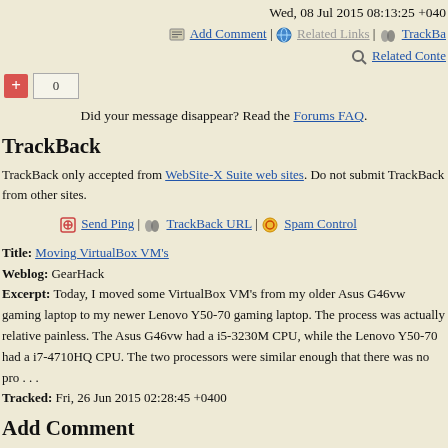Wed, 08 Jul 2015 08:13:25 +040
Add Comment | Related Links | TrackBa… | Related Conte…
+ 0
Did your message disappear? Read the Forums FAQ.
TrackBack
TrackBack only accepted from WebSite-X Suite web sites. Do not submit TrackBack from other sites.
Send Ping | TrackBack URL | Spam Control
Title: Moving VirtualBox VM's
Weblog: GearHack
Excerpt: Today, I moved some VirtualBox VM's from my older Asus G46vw gaming laptop to my newer Lenovo Y50-70 gaming laptop. The process was actually relative painless. The Asus G46vw had a i5-3230M CPU, while the Lenovo Y50-70 had a i7-4710HQ CPU. The two processors were similar enough that there was no pro . . .
Tracked: Fri, 26 Jun 2015 02:28:45 +0400
Add Comment